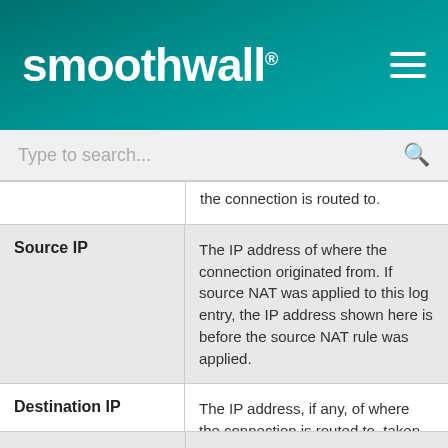smoothwall®
Type to search...
| Field | Description |
| --- | --- |
|  | the connection is routed to. |
| Source IP | The IP address of where the connection originated from. If source NAT was applied to this log entry, the IP address shown here is before the source NAT rule was applied. |
| Destination IP | The IP address, if any, of where the connection is routed to, taken from the packet header. If port forwarding was applied to this log entry, the IP address shown here is after the port forward rule was applied. |